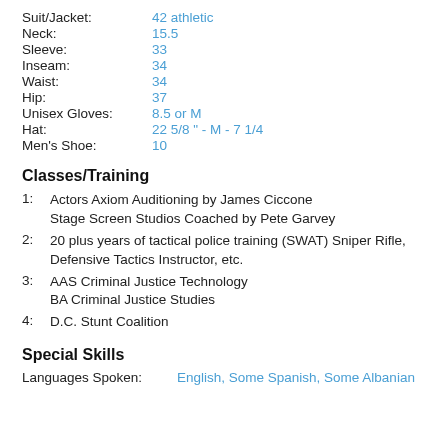Suit/Jacket: 42 athletic
Neck: 15.5
Sleeve: 33
Inseam: 34
Waist: 34
Hip: 37
Unisex Gloves: 8.5 or M
Hat: 22 5/8 " - M - 7 1/4
Men's Shoe: 10
Classes/Training
1: Actors Axiom Auditioning by James Ciccone Stage Screen Studios Coached by Pete Garvey
2: 20 plus years of tactical police training (SWAT) Sniper Rifle, Defensive Tactics Instructor, etc.
3: AAS Criminal Justice Technology BA Criminal Justice Studies
4: D.C. Stunt Coalition
Special Skills
Languages Spoken: English, Some Spanish, Some Albanian